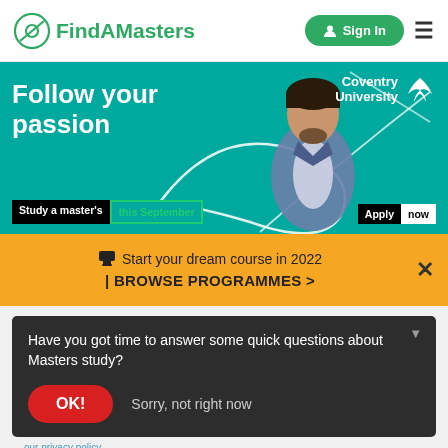FindAMasters | Sign In
[Figure (illustration): Coventry University advertisement banner with teal background, text 'Follow your passion', a person in a denim jacket, and decorative white doodle lines. Bottom left: 'Study a master's this September'. Bottom right: 'Apply now'. Top right: Coventry University logo.]
Start your dream course in 2022 | BROWSE PROGRAMMES >
Have you got time to answer some quick questions about Masters study?
OK!   Sorry, not right now
our privacy policy